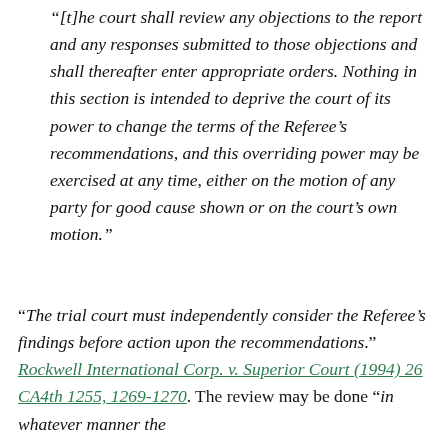“[t]he court shall review any objections to the report and any responses submitted to those objections and shall thereafter enter appropriate orders. Nothing in this section is intended to deprive the court of its power to change the terms of the Referee’s recommendations, and this overriding power may be exercised at any time, either on the motion of any party for good cause shown or on the court’s own motion.”
“The trial court must independently consider the Referee’s findings before action upon the recommendations.” Rockwell International Corp. v. Superior Court (1994) 26 CA4th 1255, 1269-1270. The review may be done “in whatever manner the